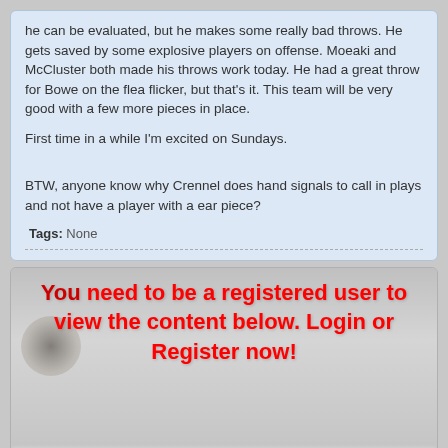he can be evaluated, but he makes some really bad throws. He gets saved by some explosive players on offense. Moeaki and McCluster both made his throws work today. He had a great throw for Bowe on the flea flicker, but that&#039;s it. This team will be very good with a few more pieces in place.
First time in a while I&#039;m excited on Sundays.
BTW, anyone know why Crennel does hand signals to call in plays and not have a player with a ear piece?
Tags: None
You need to be a registered user to view the content below. Login or Register now!